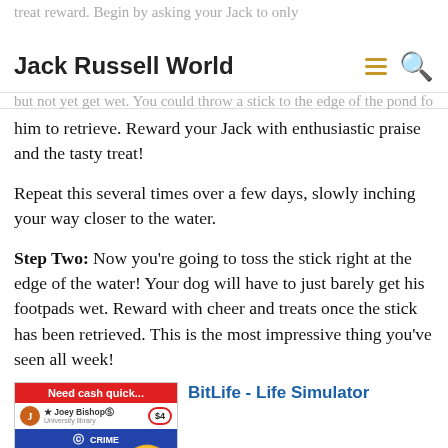Jack Russell World
him to retrieve. Reward your Jack with enthusiastic praise and the tasty treat!
Repeat this several times over a few days, slowly inching your way closer to the water.
Step Two: Now you're going to toss the stick right at the edge of the water! Your dog will have to just barely get his footpads wet. Reward with cheer and treats once the stick has been retrieved. This is the most impressive thing you've seen all week!
[Figure (screenshot): Advertisement for BitLife - Life Simulator showing a game screenshot with a Bank Robbery option highlighted in red circle, a crime emoji character, and text 'Need cash quick...']
Ad